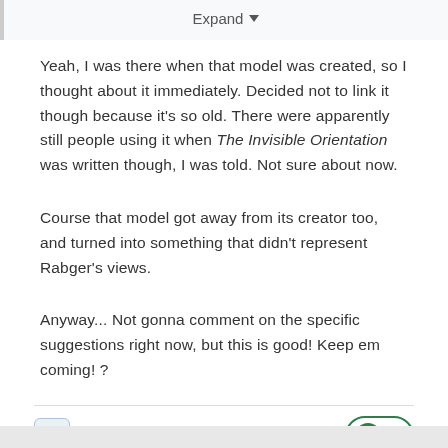Expand
Yeah, I was there when that model was created, so I thought about it immediately. Decided not to link it though because it's so old. There were apparently still people using it when The Invisible Orientation was written though, I was told. Not sure about now.
Course that model got away from its creator too, and turned into something that didn't represent Rabger's views.
Anyway... Not gonna comment on the specific suggestions right now, but this is good! Keep em coming! ?
+ Quote  ❤ 1